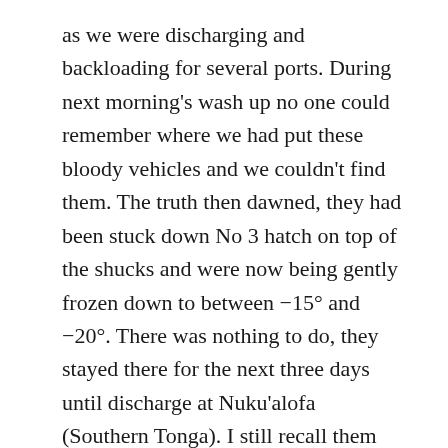as we were discharging and backloading for several ports. During next morning's wash up no one could remember where we had put these bloody vehicles and we couldn't find them. The truth then dawned, they had been stuck down No 3 hatch on top of the shucks and were now being gently frozen down to between -15° and -20°. There was nothing to do, they stayed there for the next three days until discharge at Nuku'alofa (Southern Tonga). I still recall them sitting on the wharf heavily frosted and steaming slightly, often wonder if they had anti freeze in the engines. After Pago Pago (American Samoa) we eventually reached Apia (Western Samoa) where the shucks were discharged and turned